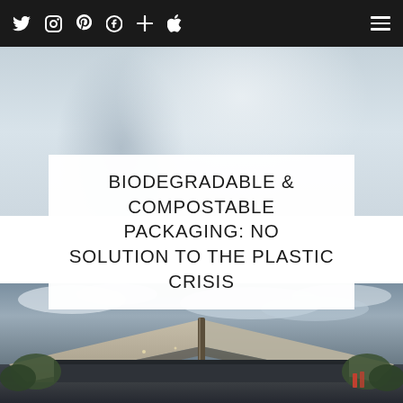Navigation bar with social icons: Twitter, Instagram, Pinterest, Facebook, Plus, Apple; and hamburger menu
[Figure (photo): Abstract blurred background photo, light blue-grey tones, appears to show a glass or cup surface]
BIODEGRADABLE & COMPOSTABLE PACKAGING: NO SOLUTION TO THE PLASTIC CRISIS
[Figure (photo): Outdoor glamping tent with canvas roof supported by wooden poles, cloudy sky background, vegetation visible at sides]